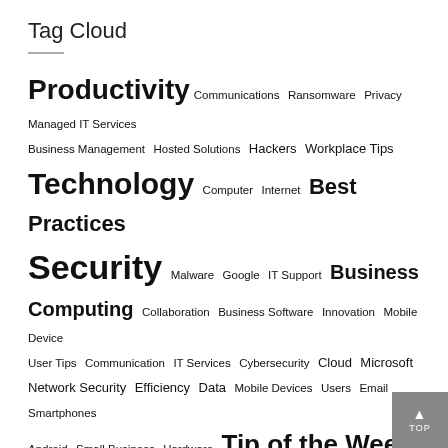Tag Cloud
[Figure (infographic): Tag cloud with technology-related terms in varying font sizes indicating frequency: large tags include Productivity, Technology, Security, Best Practices, Business, Computing, Tip of the Week; medium tags include Communications, Ransomware, Privacy, Managed IT Services, Business Management, Hosted Solutions, Hackers, Workplace Tips, Computer, Internet, Malware, Google, IT Support, Collaboration, Business Software, Innovation, Mobile Device, User Tips, Communication, IT Services, Cybersecurity, Cloud, Microsoft, Network Security, Efficiency, Data, Mobile Devices, Users, Email, Smartphones, Android, Small Business, Hardware]
Blog Archive
2022
2021
2020